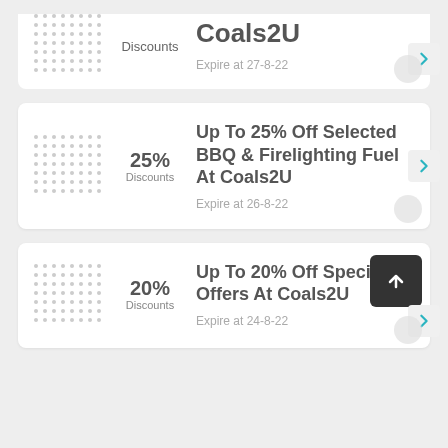Discounts
Coals2U
Expire at 27-8-22
25% Discounts
Up To 25% Off Selected BBQ & Firelighting Fuel At Coals2U
Expire at 26-8-22
20% Discounts
Up To 20% Off Special Offers At Coals2U
Expire at 24-8-22